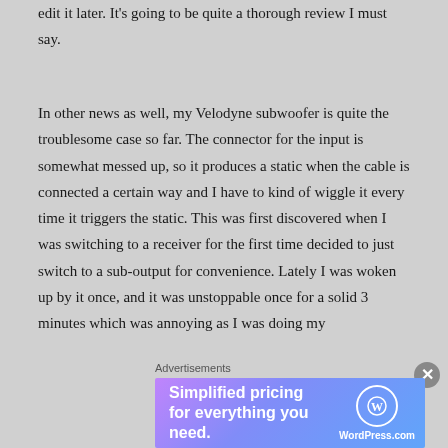edit it later. It's going to be quite a thorough review I must say.
In other news as well, my Velodyne subwoofer is quite the troublesome case so far. The connector for the input is somewhat messed up, so it produces a static when the cable is connected a certain way and I have to kind of wiggle it every time it triggers the static. This was first discovered when I was switching to a receiver for the first time decided to just switch to a sub-output for convenience. Lately I was woken up by it once, and it was unstoppable once for a solid 3 minutes which was annoying as I was doing my
Advertisements
[Figure (other): WordPress.com advertisement banner with gradient purple-blue background, text 'Simplified pricing for everything you need.' and WordPress.com logo on the right]